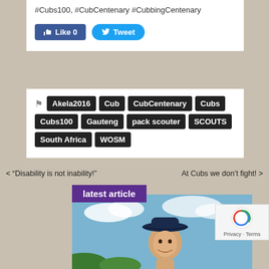#Cubs100, #CubCentenary #CubbingCentenary
[Figure (screenshot): Facebook Like button showing 0 likes and Twitter Tweet button]
Akela2016  Cub  CubCentenary  Cubs  Cubs100  Gauteng  pack scouter  SCOUTS  South Africa  WOSM
< “Disability is not inability!”
At Cubs we don’t fight! >
latest article
[Figure (photo): Young person wearing a dark bucket hat, smiling, with blue sky and clouds in background]
Privacy · Terms